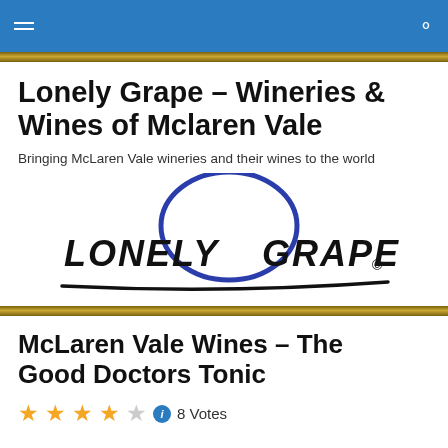Navigation bar with hamburger menu and search icon
Lonely Grape – Wineries & Wines of Mclaren Vale
Bringing McLaren Vale wineries and their wines to the world
[Figure (logo): Lonely Grape logo featuring stylized hand-drawn text 'LONELY GRAPE©' with a blue oval/grape shape above]
McLaren Vale Wines – The Good Doctors Tonic
8 Votes